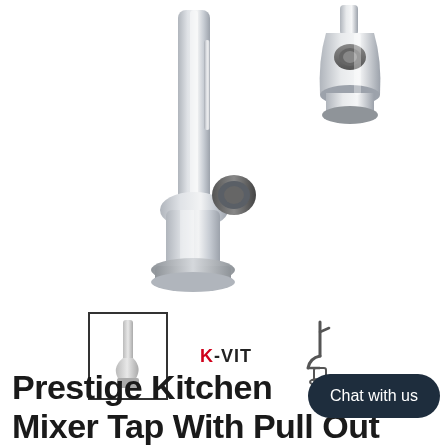[Figure (photo): Kitchen mixer tap faucet in brushed steel/chrome finish with pull-out head, shown as main product image. A separate spray head detail is shown top-right.]
[Figure (photo): Thumbnail gallery row with three thumbnails: selected product image of faucet (bordered), K-VIT brand logo in red/black, and side-view outline of faucet.]
Prestige Kitchen Mixer Tap With Pull Out